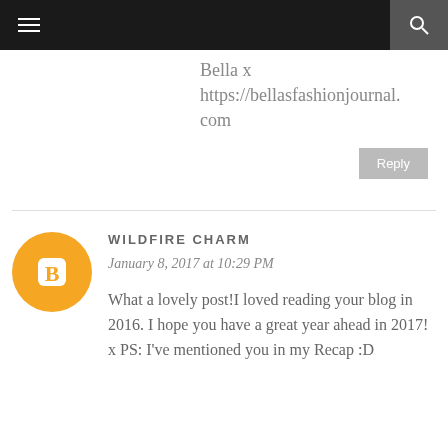≡  🔍
Bella x
https://bellasfashionjournal.com
Reply
WILDFIRE CHARM
January 8, 2017 at 10:29 PM
What a lovely post!I loved reading your blog in 2016. I hope you have a great year ahead in 2017! x PS: I've mentioned you in my Recap :D